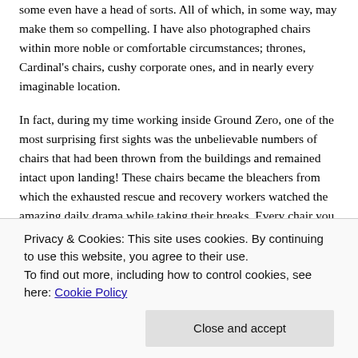some even have a head of sorts. All of which, in some way, may make them so compelling. I have also photographed chairs within more noble or comfortable circumstances; thrones, Cardinal's chairs, cushy corporate ones, and in nearly every imaginable location.
In fact, during my time working inside Ground Zero, one of the most surprising first sights was the unbelievable numbers of chairs that had been thrown from the buildings and remained intact upon landing! These chairs became the bleachers from which the exhausted rescue and recovery workers watched the amazing daily drama while taking their breaks. Every chair you might conceive of, from the most
Privacy & Cookies: This site uses cookies. By continuing to use this website, you agree to their use.
To find out more, including how to control cookies, see here: Cookie Policy
Close and accept
light box,) when one day, while I was eating for something